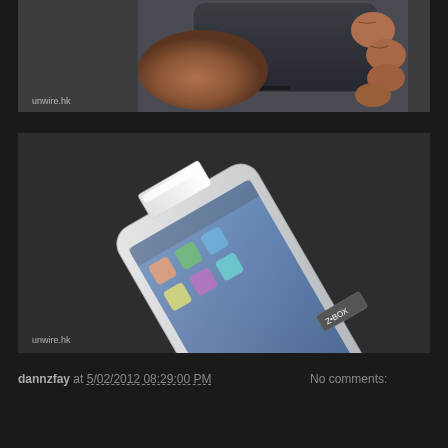[Figure (photo): Hand holding a dark-colored smartphone from behind, showing the back of the device. Watermark 'unwire.hk' visible at bottom left of image.]
[Figure (photo): A smartphone lying flat at an angle on a dark surface with a transparent/frosted screen protector being peeled off. Watermark 'unwire.hk' visible at bottom left of image.]
dannzfay at 5/02/2012 08:29:00 PM    No comments:
Share